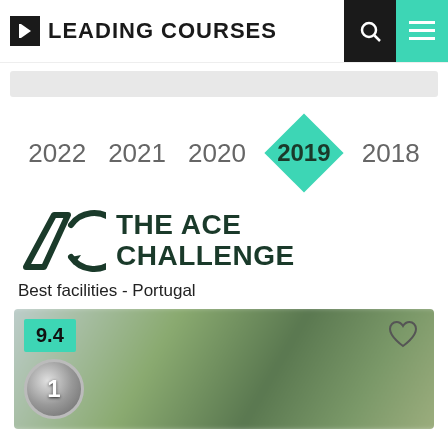LEADING COURSES
[Figure (logo): Leading Courses logo with navigation icons (search and menu) in header]
[Figure (infographic): Year navigation bar with years 2022, 2021, 2020, 2019 (active, highlighted in teal diamond), 2018]
[Figure (logo): The Ace Challenge logo with triangle and circular arrow symbol]
Best facilities - Portugal
[Figure (photo): Golf course photo with score badge 9.4, heart icon, and rank badge number 1]